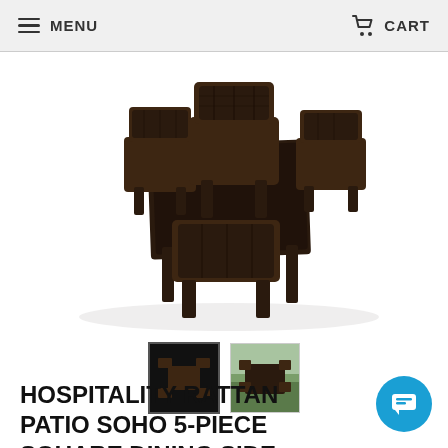MENU   CART
[Figure (photo): Dark brown wicker/rattan patio dining set with square table and 4 chairs, viewed from slightly above, on white background]
[Figure (photo): Thumbnail 1: overhead view of dark wicker dining set, black background]
[Figure (photo): Thumbnail 2: outdoor wicker dining set on grass/outdoor setting]
HOSPITALITY RATTAN PATIO SOHO 5-PIECE SQUARE DINING SIDE